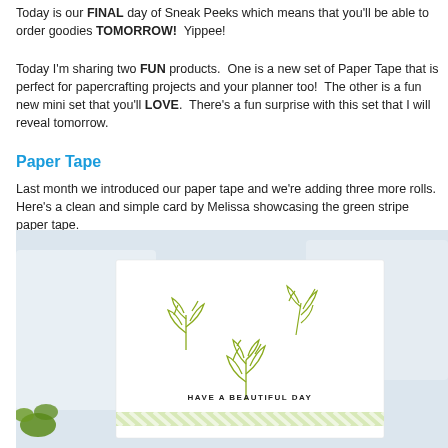Today is our FINAL day of Sneak Peeks which means that you'll be able to order goodies TOMORROW!  Yippee!
Today I'm sharing two FUN products.  One is a new set of Paper Tape that is perfect for papercrafting projects and your planner too!  The other is a fun new mini set that you'll LOVE.  There's a fun surprise with this set that I will reveal tomorrow.
Paper Tape
Last month we introduced our paper tape and we're adding three more rolls. Here's a clean and simple card by Melissa showcasing the green stripe paper tape.
[Figure (photo): A handmade card on a light blue-grey background. The card is white with three olive/yellow-green leaf stamp impressions scattered across it. At the bottom of the card is printed 'HAVE A BEAUTIFUL DAY' in small black caps. Along the very bottom edge of the card is a strip of green and white diagonal stripe paper tape.]